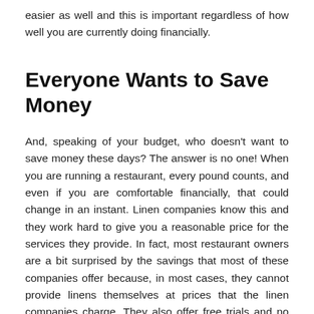easier as well and this is important regardless of how well you are currently doing financially.
Everyone Wants to Save Money
And, speaking of your budget, who doesn't want to save money these days? The answer is no one! When you are running a restaurant, every pound counts, and even if you are comfortable financially, that could change in an instant. Linen companies know this and they work hard to give you a reasonable price for the services they provide. In fact, most restaurant owners are a bit surprised by the savings that most of these companies offer because, in most cases, they cannot provide linens themselves at prices that the linen companies charge. They also offer free trials and no required contract, which means that you can stop the services at any time. They make it simple and convenient to utilise their services and enjoy their